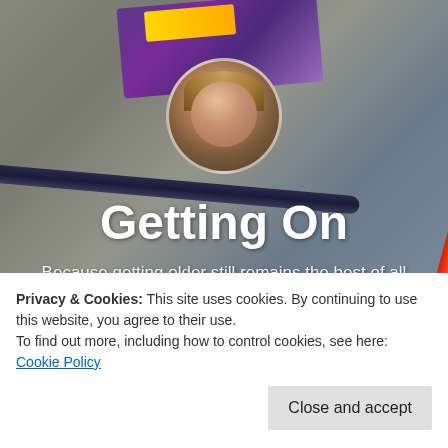[Figure (screenshot): Blog header screenshot showing a WordPress blog titled 'Getting On' with a background of handwritten notes and coloured pens, a circular profile photo of a middle-aged man with glasses, the blog title 'Getting On' in large white text, and subtitle 'Because getting older still remains the best of all available options.']
Privacy & Cookies: This site uses cookies. By continuing to use this website, you agree to their use.
To find out more, including how to control cookies, see here: Cookie Policy
Close and accept